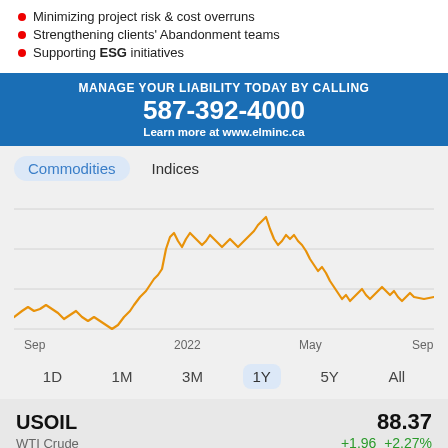Minimizing project risk & cost overruns
Strengthening clients' Abandonment teams
Supporting ESG initiatives
[Figure (infographic): Blue CTA banner: MANAGE YOUR LIABILITY TODAY BY CALLING 587-392-4000 Learn more at www.elminc.ca]
[Figure (line-chart): Commodities (1Y)]
1D  1M  3M  1Y  5Y  All
USOIL  88.37
WTI Crude  +1.96  +2.27%